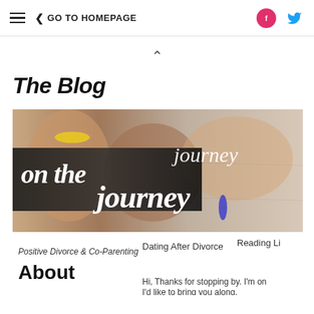≡  < GO TO HOMEPAGE   [Facebook] [Twitter]
The Blog
[Figure (screenshot): Screenshot of a website showing a blog header image with cursive text 'on the journey' overlaid on a photo of people holding hands, with navigation links: 'Positive Divorce & Co-Parenting', 'Dating After Divorce', 'Reading Li...' and an 'About' section with text 'Hi, Thanks for stopping by. I'm on... I'd like to bring you along.']